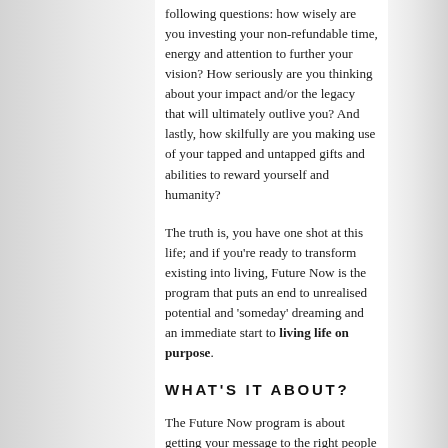following questions: how wisely are you investing your non-refundable time, energy and attention to further your vision? How seriously are you thinking about your impact and/or the legacy that will ultimately outlive you? And lastly, how skilfully are you making use of your tapped and untapped gifts and abilities to reward yourself and humanity?
The truth is, you have one shot at this life; and if you're ready to transform existing into living, Future Now is the program that puts an end to unrealised potential and 'someday' dreaming and an immediate start to living life on purpose.
WHAT'S IT ABOUT?
The Future Now program is about getting your message to the right people in the right manner, making your mark, and bringing your unique service to the world in